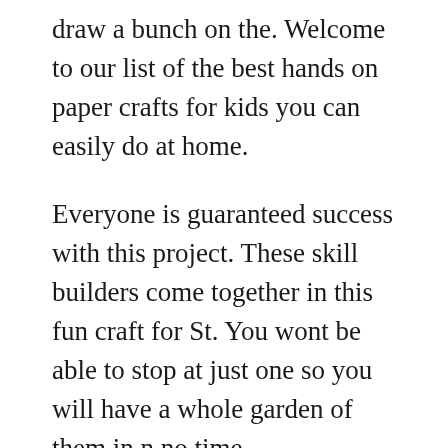draw a bunch on the. Welcome to our list of the best hands on paper crafts for kids you can easily do at home.
Everyone is guaranteed success with this project. These skill builders come together in this fun craft for St. You wont be able to stop at just one so you will have a whole garden of them in n no time.
Easy Paper Plate Elf Party Hats. Set it aside to dry completely. Snowman Paper Plate Craft.
Paper craft ideas all year long. Paper Plate Christmas Tree Tradition. Needless to say after